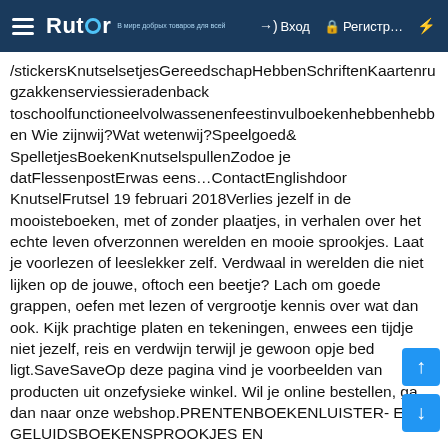Rutor — Вход Регистр... ⚡
/stickersKnutselsetjesGereedschapHebbenSchriftenKaartenrugzakkenserviessieradenback toschoolfunctioneelvolwassenenfeestinvulboekenhebbenhebbenWie zijnwij?Wat wetenwij?Speelgoed& SpelletjesBoekenKnutselspullenZodoe je datFlessenpostErwas eens…ContactEnglishdoor KnutselFrutsel 19 februari 2018Verlies jezelf in de mooisteboeken, met of zonder plaatjes, in verhalen over het echte leven ofverzonnen werelden en mooie sprookjes. Laat je voorlezen of leeslekker zelf. Verdwaal in werelden die niet lijken op de jouwe, oftoch een beetje? Lach om goede grappen, oefen met lezen of vergrootje kennis over wat dan ook. Kijk prachtige platen en tekeningen, enwees een tijdje niet jezelf, reis en verdwijn terwijl je gewoon opje bed ligt.SaveSaveOp deze pagina vind je voorbeelden van producten uit onzefysieke winkel. Wil je online bestellen, ga dan naar onze webshop.PRENTENBOEKENLUISTER- EN GELUIDSBOEKENSPROOKJES EN VOORLEESKLASSIEKERS1E BOEKEN2-6 JAAR6-9 JAAR EN MOPPEN9-12 JAARINFORMATIEFOEFENENENGELS Knutsel